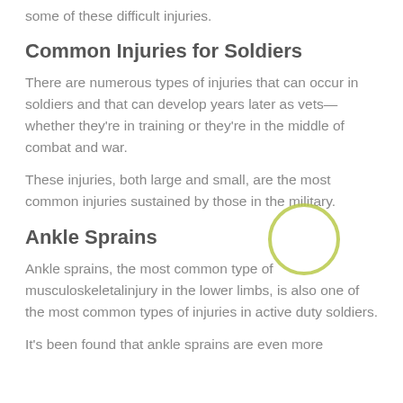some of these difficult injuries.
Common Injuries for Soldiers
There are numerous types of injuries that can occur in soldiers and that can develop years later as vets—whether they're in training or they're in the middle of combat and war.
These injuries, both large and small, are the most common injuries sustained by those in the military.
Ankle Sprains
Ankle sprains, the most common type of musculoskeletalinjury in the lower limbs, is also one of the most common types of injuries in active duty soldiers.
It's been found that ankle sprains are even more